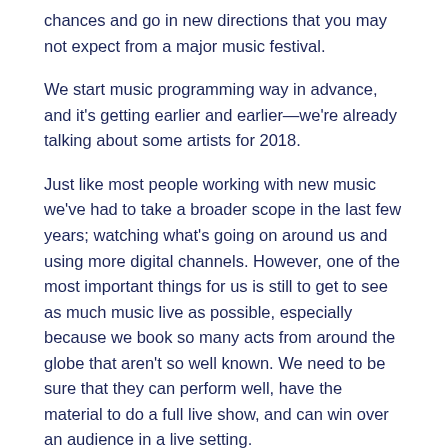chances and go in new directions that you may not expect from a major music festival.
We start music programming way in advance, and it's getting earlier and earlier—we're already talking about some artists for 2018.
Just like most people working with new music we've had to take a broader scope in the last few years; watching what's going on around us and using more digital channels. However, one of the most important things for us is still to get to see as much music live as possible, especially because we book so many acts from around the globe that aren't so well known. We need to be sure that they can perform well, have the material to do a full live show, and can win over an audience in a live setting.